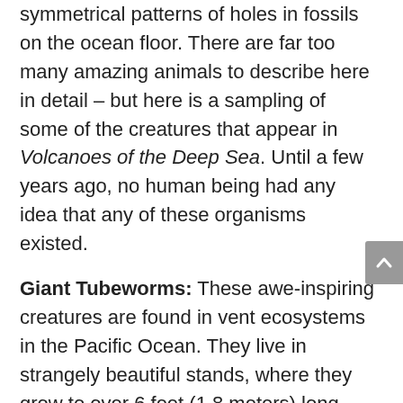symmetrical patterns of holes in fossils on the ocean floor. There are far too many amazing animals to describe here in detail – but here is a sampling of some of the creatures that appear in Volcanoes of the Deep Sea. Until a few years ago, no human being had any idea that any of these organisms existed.
Giant Tubeworms: These awe-inspiring creatures are found in vent ecosystems in the Pacific Ocean. They live in strangely beautiful stands, where they grow to over 6 feet (1.8 meters) long. Not only are they big, but they grow fast, too – up to 2.8 feet (85 centimetres) per year! Tubeworms have a long, white body capped with a gorgeous red tip (the color comes from hemoglobin). With no mouth or digestive system, the organism is a symbiotic…